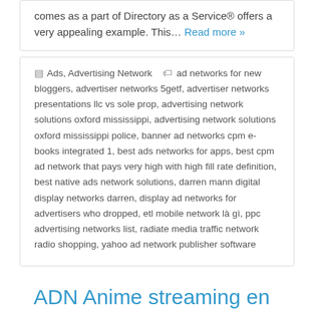comes as a part of Directory as a Service® offers a very appealing example. This… Read more »
Ads, Advertising Network  ad networks for new bloggers, advertiser networks 5getf, advertiser networks presentations llc vs sole prop, advertising network solutions oxford mississippi, advertising network solutions oxford mississippi police, banner ad networks cpm e-books integrated 1, best ads networks for apps, best cpm ad network that pays very high with high fill rate definition, best native ads network solutions, darren mann digital display networks darren, display ad networks for advertisers who dropped, etl mobile network là gì, ppc advertising networks list, radiate media traffic network radio shopping, yahoo ad network publisher software
ADN Anime streaming en